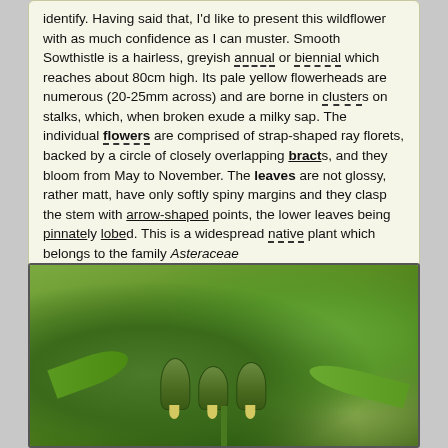identify.  Having said that, I'd like to present this wildflower with as much confidence as I can muster.  Smooth Sowthistle is a hairless, greyish annual or biennial which reaches about 80cm high.  Its pale yellow flowerheads are numerous (20-25mm across) and are borne in clusters on stalks, which, when broken exude a milky sap.  The individual flowers are comprised of strap-shaped ray florets, backed by a circle of closely overlapping bracts, and they bloom from May to November.  The leaves are not glossy, rather matt, have only softly spiny margins and they clasp the stem with arrow-shaped points, the lower leaves being pinnately lobed. This is a widespread native plant which belongs to the family Asteraceae
My first record of this wildflower is at Dalkey, Co Dublin in 1980.  I photographed it in Gibletstown, Co Wexford in 2007.
If you are satisfied you have correctly identified this plant, please submit your sighting to the National Biodiversity Data Centre
[Figure (photo): Close-up photograph of Smooth Sowthistle plant showing green buds and leaves with a pale yellow flower beginning to open, set against a green leafy background]